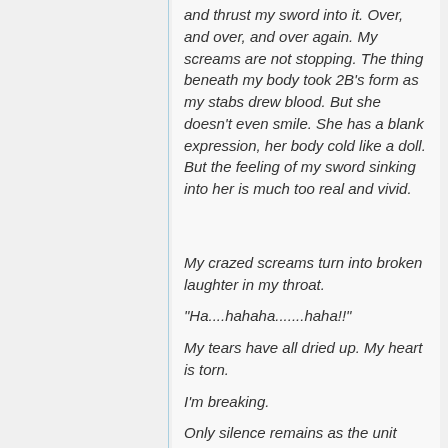and thrust my sword into it. Over, and over, and over again. My screams are not stopping. The thing beneath my body took 2B's form as my stabs drew blood. But she doesn't even smile. She has a blank expression, her body cold like a doll. But the feeling of my sword sinking into her is much too real and vivid.
My crazed screams turn into broken laughter in my throat.
"Ha....hahaha.......haha!!"
My tears have all dried up. My heart is torn.
I'm breaking.
Only silence remains as the unit beneath me ceased functioning, its